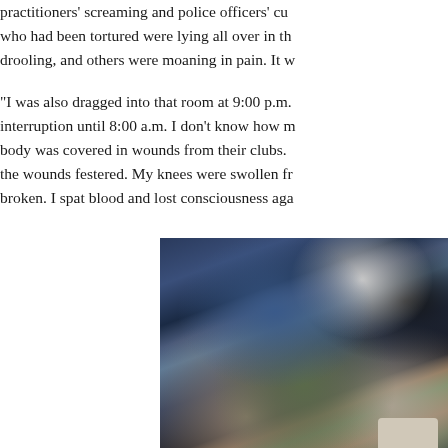practitioners' screaming and police officers' cu who had been tortured were lying all over in th drooling, and others were moaning in pain. It w
“I was also dragged into that room at 9:00 p.m. interruption until 8:00 a.m. I don't know how m body was covered in wounds from their clubs. the wounds festered. My knees were swollen fr broken. I spat blood and lost consciousness aga
[Figure (photo): A photograph showing the lower body of a person in blue jeans and another person in dark clothing, taken from above, on a tiled floor with green and pinkish-brown tiles.]